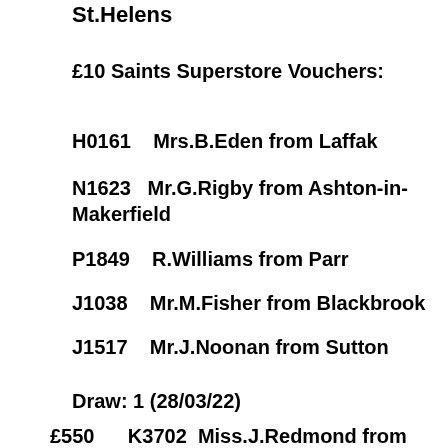St.Helens
£10 Saints Superstore Vouchers:
H0161    Mrs.B.Eden from Laffak
N1623   Mr.G.Rigby from Ashton-in-Makerfield
P1849    R.Williams from Parr
J1038    Mr.M.Fisher from Blackbrook
J1517    Mr.J.Noonan from Sutton
Draw: 1 (28/03/22)
£550      K3702  Miss.J.Redmond from